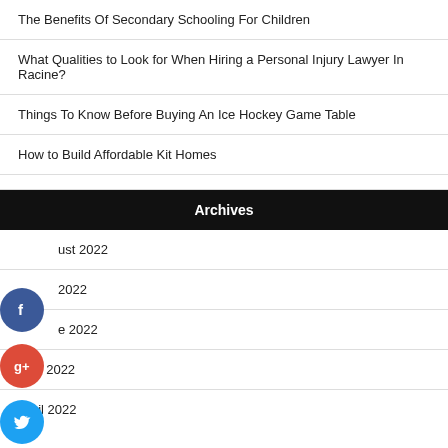The Benefits Of Secondary Schooling For Children
What Qualities to Look for When Hiring a Personal Injury Lawyer In Racine?
Things To Know Before Buying An Ice Hockey Game Table
How to Build Affordable Kit Homes
Archives
ust 2022
2022
e 2022
May 2022
April 2022